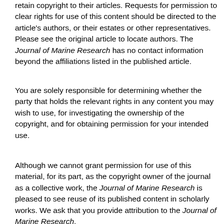retain copyright to their articles. Requests for permission to clear rights for use of this content should be directed to the article's authors, or their estates or other representatives. Please see the original article to locate authors. The Journal of Marine Research has no contact information beyond the affiliations listed in the published article.
You are solely responsible for determining whether the party that holds the relevant rights in any content you may wish to use, for investigating the ownership of the copyright, and for obtaining permission for your intended use.
Although we cannot grant permission for use of this material, for its part, as the copyright owner of the journal as a collective work, the Journal of Marine Research is pleased to see reuse of its published content in scholarly works. We ask that you provide attribution to the Journal of Marine Research.